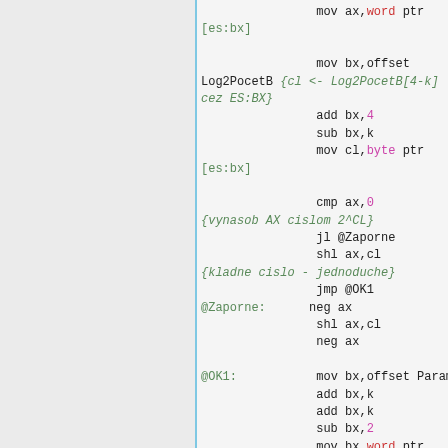mov ax,word ptr [es:bx]
mov bx,offset Log2PocetB {cl <- Log2PocetB[4-k] cez ES:BX}
add bx,4
sub bx,k
mov cl,byte ptr [es:bx]
cmp ax,0
{vynasob AX cislom 2^CL}
jl @Zaporne
shl ax,cl
{kladne cislo - jednoduche}
jmp @OK1
@Zaporne:  neg ax
shl ax,cl
neg ax
@OK1:  mov bx,offset Param
add bx,k
add bx,k
sub bx,2
mov bx,word ptr [es:bx]  {BX <- Param[k-1]}
imul bx
{vynasob}